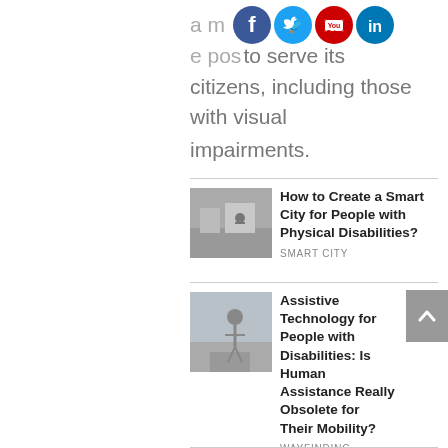a more accessible and inclusive purpose to serve its citizens, including those with visual impairments.
[Figure (illustration): Social media icons: Facebook (blue circle with f), Twitter (blue circle with bird), YouTube (red circle with YouTube logo), LinkedIn (blue circle with in)]
[Figure (photo): Thumbnail image of a person on a bicycle or wheelchair on a street/ramp]
How to Create a Smart City for People with Physical Disabilities?
SMART CITY
[Figure (photo): Thumbnail image of a person walking on a city sidewalk]
Assistive Technology for People with Disabilities: Is Human Assistance Really Obsolete for Their Mobility?
WAYFINDING SOLUTIONS